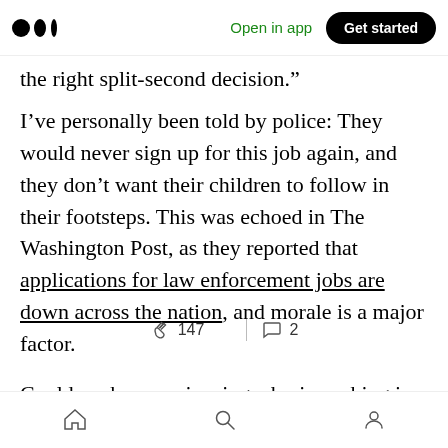Medium app navigation bar with logo, Open in app, Get started
the right split-second decision."
I've personally been told by police: They would never sign up for this job again, and they don't want their children to follow in their footsteps. This was echoed in The Washington Post, as they reported that applications for law enforcement jobs are down across the nation, and morale is a major factor.
Could we be experiencing a brainwashing in America that lea [147 claps] [2 comments] ems down the line? If the amount of anti-police sentiment I've
Bottom navigation: Home, Search, Profile